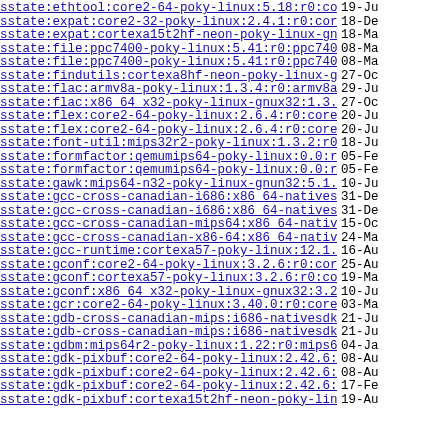sstate:ethtool:core2-64-poky-linux:5.18:r0:core..> 19-Ju
sstate:expat:core2-32-poky-linux:2.4.1:r0:core2..> 18-De
sstate:expat:cortexa15t2hf-neon-poky-linux-gnue..> 18-Ma
sstate:file:ppc7400-poky-linux:5.41:r0:ppc7400:..> 08-Ma
sstate:file:ppc7400-poky-linux:5.41:r0:ppc7400:..> 08-Ma
sstate:findutils:cortexa8hf-neon-poky-linux-gnu..> 27-Oc
sstate:flac:armv8a-poky-linux:1.3.4:r0:armv8a:1..> 29-Ju
sstate:flac:x86_64_x32-poky-linux-gnux32:1.3.3:..> 27-Oc
sstate:flex:core2-64-poky-linux:2.6.4:r0:core2-..> 20-Ju
sstate:flex:core2-64-poky-linux:2.6.4:r0:core2-..> 20-Ju
sstate:font-util:mips32r2-poky-linux:1.3.2:r0:m..> 18-Ju
sstate:formfactor:qemumips64-poky-linux:0.0:r45..> 05-Fe
sstate:formfactor:qemumips64-poky-linux:0.0:r45..> 05-Fe
sstate:gawk:mips64-n32-poky-linux-gnun32:5.1.1:..> 10-Ju
sstate:gcc-cross-canadian-i686:x86_64-nativesdk..> 31-De
sstate:gcc-cross-canadian-i686:x86_64-nativesdk..> 31-De
sstate:gcc-cross-canadian-mips64:x86_64-natives..> 15-Oc
sstate:gcc-cross-canadian-x86-64:x86_64-natives..> 24-Ma
sstate:gcc-runtime:cortexa57-poky-linux:12.1.0:..> 16-Au
sstate:gconf:core2-64-poky-linux:3.2.6:r0:core2..> 25-Au
sstate:gconf:cortexa57-poky-linux:3.2.6:r0:cort..> 19-Ma
sstate:gconf:x86_64_x32-poky-linux-gnux32:3.2.6..> 10-Ju
sstate:gcr:core2-64-poky-linux:3.40.0:r0:core2-..> 03-Ma
sstate:gdb-cross-canadian-mips:i686-nativesdk-p..> 21-Ju
sstate:gdb-cross-canadian-mips:i686-nativesdk-p..> 21-Ju
sstate:gdbm:mips64r2-poky-linux:1.22:r0:mips64r..> 04-Ja
sstate:gdk-pixbuf:core2-64-poky-linux:2.42.6:r0..> 08-Au
sstate:gdk-pixbuf:core2-64-poky-linux:2.42.6:r0..> 08-Au
sstate:gdk-pixbuf:core2-64-poky-linux:2.42.6:r0..> 17-Fe
sstate:gdk-pixbuf:cortexa15t2hf-neon-poky-linux. 19-Au